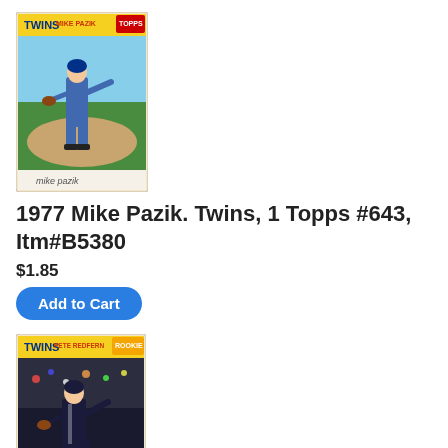[Figure (photo): 1977 Topps baseball card for Mike Pazik, Minnesota Twins pitcher, card shows player in blue Twins uniform on field]
1977 Mike Pazik. Twins, 1 Topps #643, Itm#B5380
$1.85
Add to Cart
[Figure (photo): 1977 Topps baseball card for Pete Redfern, Minnesota Twins, rookie card shows player in dark uniform]
1977 Pete Redfern, Twins, 1 Topps Rookie #249, Itm#B5381
Rookie
$1.95
Add to Cart